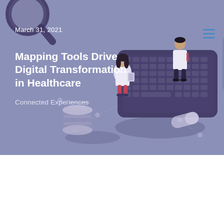[Figure (illustration): Isometric healthcare digital transformation illustration showing medical professionals (doctor figures) standing around a large laptop/tablet device with keyboard, connected by dotted lines to medical icons including pill capsules, database cylinder, and a magnifying glass. Background is a muted blue-purple/slate color. A hamburger menu icon appears in the top right corner.]
March 31, 2021
Mapping Tools Drive Digital Transformation in Healthcare
Connected Experiences
Improving the healthcare experience for customers requires a deeper understanding of the overwhelmingly